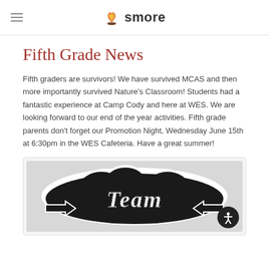smore
Fifth Grade News
Fifth graders are survivors! We have survived MCAS and then more importantly survived Nature’s Classroom! Students had a fantastic experience at Camp Cody and here at WES. We are looking forward to our end of the year activities. Fifth grade parents don’t forget our Promotion Night, Wednesday June 15th at 6:30pm in the WES Cafeteria. Have a great summer!
[Figure (photo): A black and white decorative sticker-style graphic with the word 'Team' in a stylized script font with arrows, on a cloud-like white background shape.]